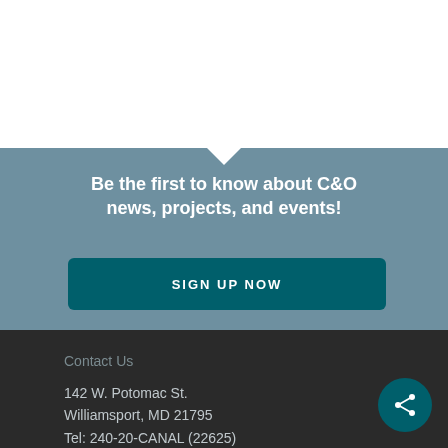Be the first to know about C&O news, projects, and events!
SIGN UP NOW
Contact Us
142 W. Potomac St.
Williamsport, MD 21795
Tel: 240-20-CANAL (22625)